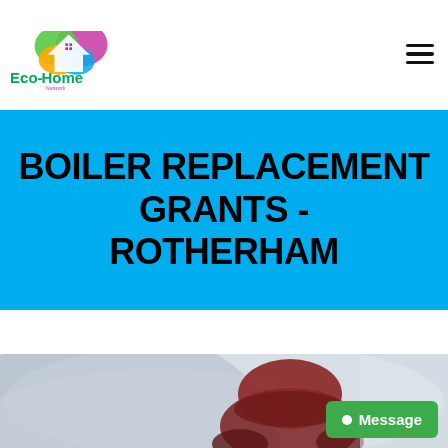[Figure (logo): Eco-Home Network logo with colorful house icon and text]
BOILER REPLACEMENT GRANTS - ROTHERHAM
[Figure (photo): Person wearing red woolly hat and gloves in cold/foggy conditions]
Message